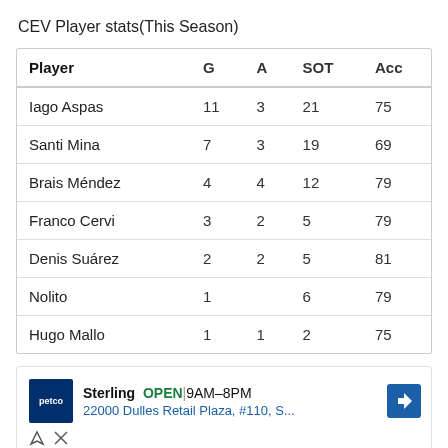CEV Player stats(This Season)
| Player | G | A | SOT | Acc |
| --- | --- | --- | --- | --- |
| Iago Aspas | 11 | 3 | 21 | 75 |
| Santi Mina | 7 | 3 | 19 | 69 |
| Brais Méndez | 4 | 4 | 12 | 79 |
| Franco Cervi | 3 | 2 | 5 | 79 |
| Denis Suárez | 2 | 2 | 5 | 81 |
| Nolito | 1 |  | 6 | 79 |
| Hugo Mallo | 1 | 1 | 2 | 75 |
[Figure (other): Advertisement: Petco store in Sterling, OPEN 9AM-8PM, 22000 Dulles Retail Plaza, #110, S...]